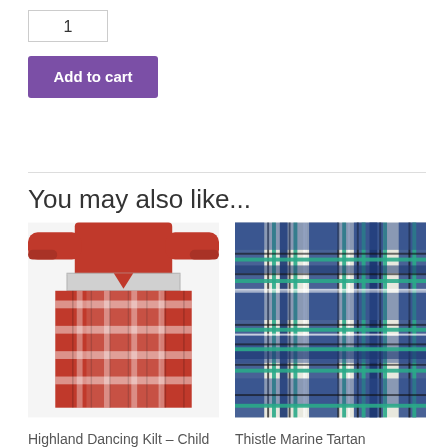1
Add to cart
You may also like...
[Figure (photo): Person wearing a red and white tartan Highland Dancing Kilt]
Highland Dancing Kilt – Child
[Figure (photo): Thistle Marine Tartan fabric swatch showing blue, teal/green and cream plaid pattern]
Thistle Marine Tartan
£6...